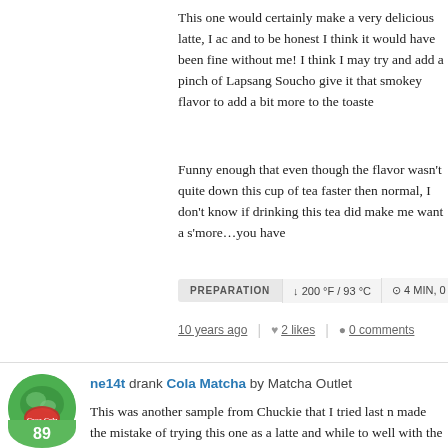This one would certainly make a very delicious latte, I a and to be honest I think it would have been fine without me! I think I may try and add a pinch of Lapsang Soucho give it that smokey flavor to add a bit more to the toaste
Funny enough that even though the flavor wasn't quite down this cup of tea faster then normal, I don't know if drinking this tea did make me want a s’more…you have
PREPARATION  ↓ 200 °F / 93 °C   ⊙ 4 MIN, 0 SEC
10 years ago  |  ♥ 2 likes  |  ● 0 comments
ne14t drank Cola Matcha by Matcha Outlet
This was another sample from Chuckie that I tried last n made the mistake of trying this one as a latte and while to well with the Cola flavoring. I am going to try this one